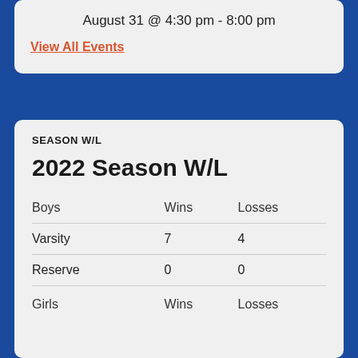August 31 @ 4:30 pm - 8:00 pm
View All Events
SEASON W/L
2022 Season W/L
| Boys | Wins | Losses |
| --- | --- | --- |
| Varsity | 7 | 4 |
| Reserve | 0 | 0 |
| Girls | Wins | Losses |
| --- | --- | --- |